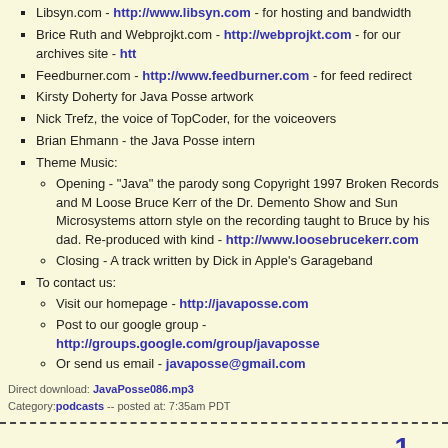Libsyn.com - http://www.libsyn.com - for hosting and bandwidth
Brice Ruth and Webprojkt.com - http://webprojkt.com - for our archives site - http://...
Feedburner.com - http://www.feedburner.com - for feed redirect
Kirsty Doherty for Java Posse artwork
Nick Trefz, the voice of TopCoder, for the voiceovers
Brian Ehmann - the Java Posse intern
Theme Music:
Opening - "Java" the parody song Copyright 1997 Broken Records and M... Loose Bruce Kerr of the Dr. Demento Show and Sun Microsystems attor... style on the recording taught to Bruce by his dad. Re-produced with kind... - http://www.loosebrucekerr.com
Closing - A track written by Dick in Apple's Garageband
To contact us:
Visit our homepage - http://javaposse.com
Post to our google group - http://groups.google.com/group/javaposse
Or send us email - javaposse@gmail.com
Direct download: JavaPosse086.mp3
Category:podcasts -- posted at: 7:35am PDT
1
To browse other episodes, use the Archives list on t...